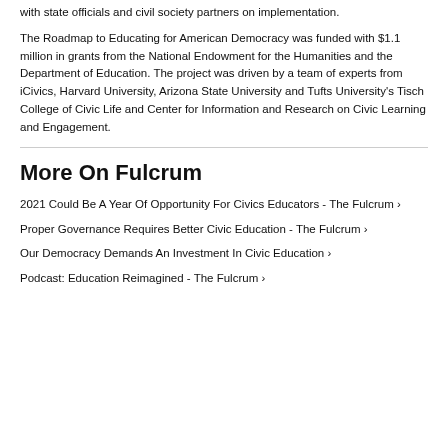with state officials and civil society partners on implementation.
The Roadmap to Educating for American Democracy was funded with $1.1 million in grants from the National Endowment for the Humanities and the Department of Education. The project was driven by a team of experts from iCivics, Harvard University, Arizona State University and Tufts University's Tisch College of Civic Life and Center for Information and Research on Civic Learning and Engagement.
More On Fulcrum
2021 Could Be A Year Of Opportunity For Civics Educators - The Fulcrum ›
Proper Governance Requires Better Civic Education - The Fulcrum ›
Our Democracy Demands An Investment In Civic Education ›
Podcast: Education Reimagined - The Fulcrum ›